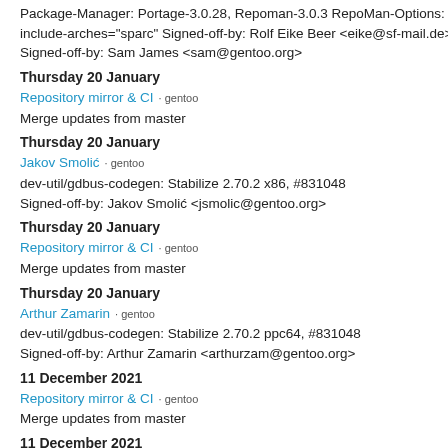Package-Manager: Portage-3.0.28, Repoman-3.0.3 RepoMan-Options: --include-arches="sparc" Signed-off-by: Rolf Eike Beer <eike@sf-mail.de> Signed-off-by: Sam James <sam@gentoo.org>
Thursday 20 January
Repository mirror & CI · gentoo
Merge updates from master
Thursday 20 January
Jakov Smolić · gentoo
dev-util/gdbus-codegen: Stabilize 2.70.2 x86, #831048 Signed-off-by: Jakov Smolić <jsmolic@gentoo.org>
Thursday 20 January
Repository mirror & CI · gentoo
Merge updates from master
Thursday 20 January
Arthur Zamarin · gentoo
dev-util/gdbus-codegen: Stabilize 2.70.2 ppc64, #831048 Signed-off-by: Arthur Zamarin <arthurzam@gentoo.org>
11 December 2021
Repository mirror & CI · gentoo
Merge updates from master
11 December 2021